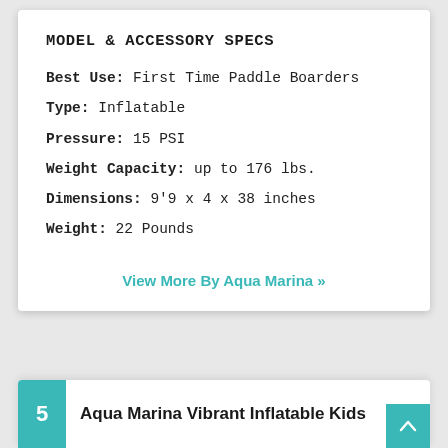MODEL & ACCESSORY SPECS
Best Use: First Time Paddle Boarders
Type: Inflatable
Pressure: 15 PSI
Weight Capacity: up to 176 lbs.
Dimensions: 9'9 x 4 x 38 inches
Weight: 22 Pounds
View More By Aqua Marina »
5  Aqua Marina Vibrant Inflatable Kids